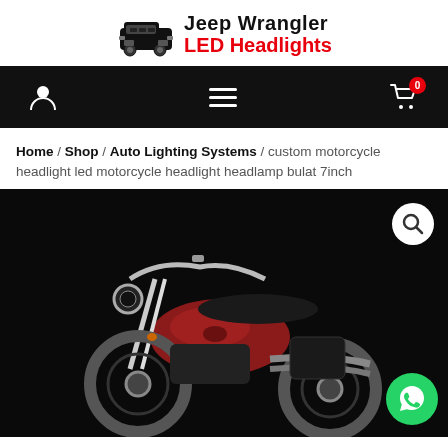[Figure (logo): Jeep Wrangler LED Headlights logo with black jeep silhouette and text]
[Figure (screenshot): Black navigation bar with user icon, hamburger menu, and cart icon with badge showing 0]
Home / Shop / Auto Lighting Systems / custom motorcycle headlight led motorcycle headlight headlamp bulat 7inch
[Figure (photo): Red and black Harley-Davidson motorcycle on black background with a magnify icon and WhatsApp button]